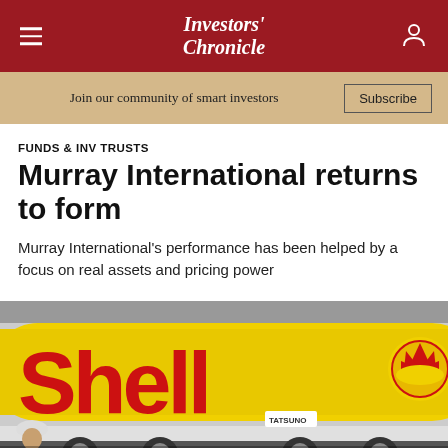Investors' Chronicle
Join our community of smart investors   Subscribe
FUNDS & INV TRUSTS
Murray International returns to form
Murray International's performance has been helped by a focus on real assets and pricing power
[Figure (photo): Shell-branded fuel tanker truck with a worker in a hard hat visible at the bottom left. The tanker is yellow with large red 'Shell' lettering and the Shell pecten logo on the right side.]